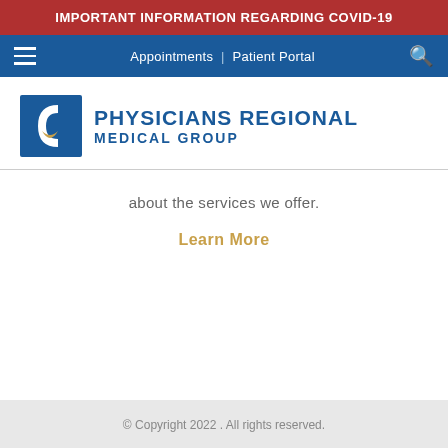IMPORTANT INFORMATION REGARDING COVID-19
[Figure (screenshot): Navigation bar with hamburger menu icon, Appointments and Patient Portal links, and search icon on blue background]
[Figure (logo): Physicians Regional Medical Group logo with blue and gold icon]
about the services we offer.
Learn More
© Copyright 2022 . All rights reserved.